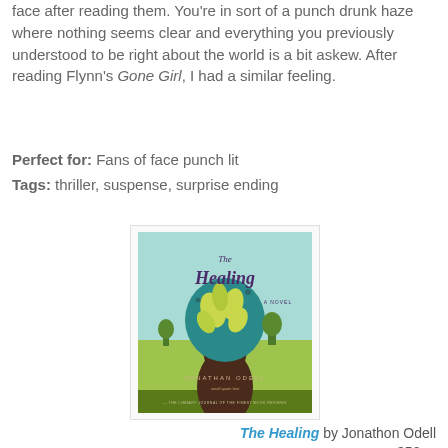face after reading them. You're in sort of a punch drunk haze where nothing seems clear and everything you previously understood to be right about the world is a bit askew. After reading Flynn's Gone Girl, I had a similar feeling.
Perfect for: Fans of face punch lit
Tags: thriller, suspense, surprise ending
[Figure (photo): Book cover of The Healing by Jonathan Odell. Features a silhouette of a woman's head in profile with a teal/blue afro filled with yellow-green leaves and plant motifs, set against a light green landscape background. Title in cursive script at top. Author name JONATHAN ODELL at bottom.]
The Healing by Jonathon Odell 352pp